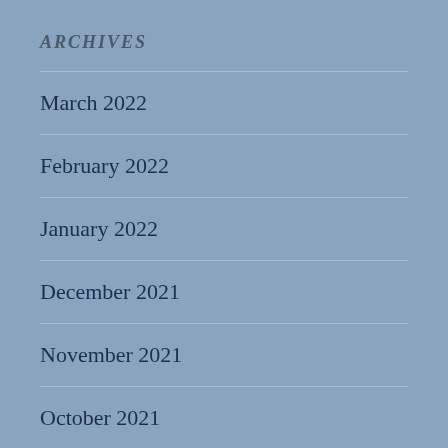ARCHIVES
March 2022
February 2022
January 2022
December 2021
November 2021
October 2021
August 2021
July 2021